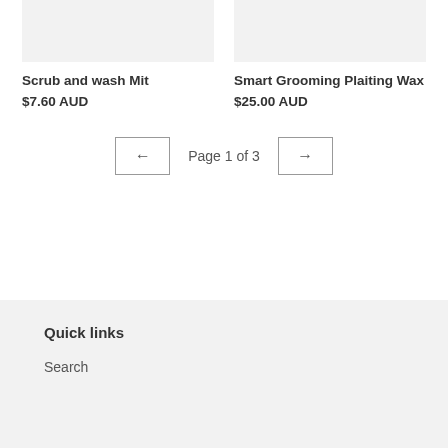[Figure (photo): Product image placeholder for Scrub and wash Mit (light gray rectangle)]
Scrub and wash Mit
$7.60 AUD
[Figure (photo): Product image placeholder for Smart Grooming Plaiting Wax (light gray rectangle)]
Smart Grooming Plaiting Wax
$25.00 AUD
← Page 1 of 3 →
Quick links
Search